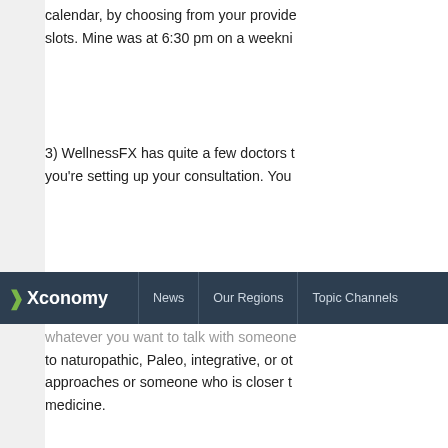calendar, by choosing from your provider's available slots. Mine was at 6:30 pm on a weekni
3) WellnessFX has quite a few doctors to choose from when you're setting up your consultation. You
Xconomy  News  Our Regions  Topic Channels
whatever you want to talk with someone who is open to naturopathic, Paleo, integrative, or other approaches or someone who is closer to conventional medicine.
[Figure (photo): Small avatar photo of a person]
5.  Paul says:
June 27, 2013 at 9:53 am
Xconomy  News  Our Regions  Topic Channe
Great article Wade, thanks for the info. I insidetracker as a cheaper alternative to looks like I'd be missing out on quite a f